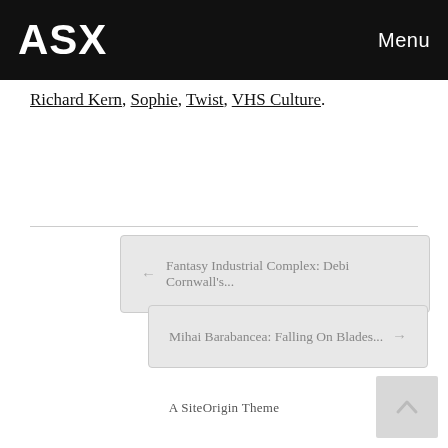ASX   Menu
Richard Kern, Sophie, Twist, VHS Culture.
← Fantasy Industrial Complex: Debi Cornwall's...
Mihai Barabancea: Falling On Blades... →
A SiteOrigin Theme